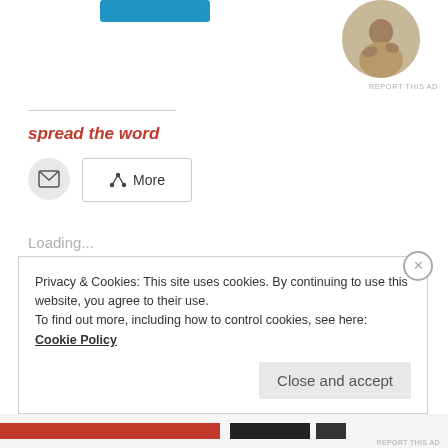[Figure (photo): Circular cropped photo of a person sitting at a desk, thinking or working]
REPORT THIS AD
spread the word
[Figure (screenshot): Email button (envelope icon) and More share button with share icon]
Loading...
Related
Privacy & Cookies: This site uses cookies. By continuing to use this website, you agree to their use.
To find out more, including how to control cookies, see here: Cookie Policy
Close and accept
REPORT THIS AD